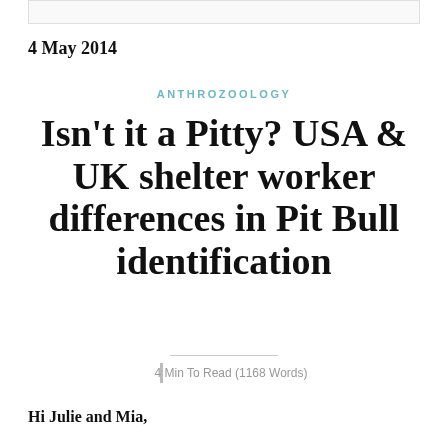4 May 2014
ANTHROZOOLOGY
Isn't it a Pitty? USA & UK shelter worker differences in Pit Bull identification
4 Min To Read (1168 Words)
Hi Julie and Mia,